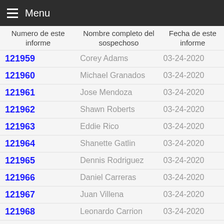Menu
| Numero de este informe | Nombre completo del sospechoso | Fecha de este informe |
| --- | --- | --- |
| 121959 | Corey Adams | 03-24-2020 |
| 121960 | Michael Granados | 03-24-2020 |
| 121961 | Jose Mendoza | 03-24-2020 |
| 121962 | Shawn Roberts | 03-24-2020 |
| 121963 | Eddie Rico | 03-24-2020 |
| 121964 | Shanette Gatlin | 03-24-2020 |
| 121965 | Dennis Rodriguez | 03-24-2020 |
| 121966 | Daniel Carreras | 03-24-2020 |
| 121967 | Juan Villena | 03-24-2020 |
| 121968 | Leonardo Carrion | 03-24-2020 |
| 121969 | Jacob Fenelon | 03-24-2020 |
| 121970 | Cheyenne Gonzalez | 03-24-2020 |
| 121854 | Jesus Hernandez | 03-23-2020 |
| 121855 | Quavis Aiken | 03-23-2020 |
| 121856 | Esther Delia | 03-23-2020 |